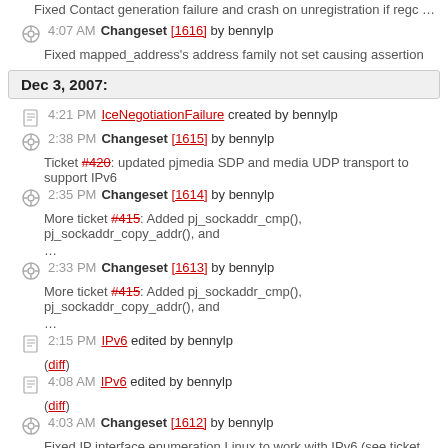Fixed Contact generation failure and crash on unregistration if regc …
4:07 AM Changeset [1616] by bennylp
Fixed mapped_address's address family not set causing assertion
Dec 3, 2007:
4:21 PM IceNegotiationFailure created by bennylp
2:38 PM Changeset [1615] by bennylp
Ticket #420: updated pjmedia SDP and media UDP transport to support IPv6
2:35 PM Changeset [1614] by bennylp
More ticket #415: Added pj_sockaddr_cmp(), pj_sockaddr_copy_addr(), and …
2:33 PM Changeset [1613] by bennylp
More ticket #415: Added pj_sockaddr_cmp(), pj_sockaddr_copy_addr(), and …
2:15 PM IPv6 edited by bennylp
(diff)
4:08 AM IPv6 edited by bennylp
(diff)
4:03 AM Changeset [1612] by bennylp
Fixed IP interface enumeration Linux to work with IPv6 (see ticket #415)
12:40 AM Changeset [1611] by bennylp